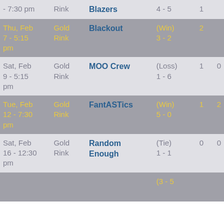| Date | Rink | Opponent | Result | # |  |
| --- | --- | --- | --- | --- | --- |
| - 7:30 pm | Rink | Blazers | 4 - 5 | 1 |  |
| Thu, Feb 7 - 5:15 pm | Gold Rink | Blackout | (Win) 3 - 2 | 2 |  |
| Sat, Feb 9 - 5:15 pm | Gold Rink | MOO Crew | (Loss) 1 - 6 | 1 | 0 |
| Tue, Feb 12 - 7:30 pm | Gold Rink | FantASTics | (Win) 5 - 0 | 1 | 2 |
| Sat, Feb 16 - 12:30 pm | Gold Rink | Random Enough | (Tie) 1 - 1 | 0 | 0 |
|  |  |  | (3 - 5 |  |  |